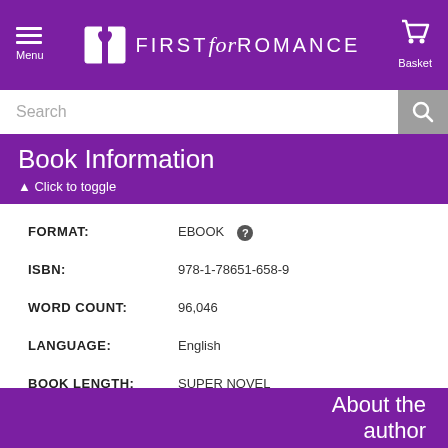FIRST for ROMANCE — Menu | Basket
Search
Book Information — Click to toggle
| Field | Value |
| --- | --- |
| FORMAT: | EBOOK |
| ISBN: | 978-1-78651-658-9 |
| WORD COUNT: | 96,046 |
| LANGUAGE: | English |
| BOOK LENGTH: | SUPER NOVEL |
| PAGES: | 283 |
| GENRES: | BONDAGE AND BDSM CONTEMPORARY |
About the author